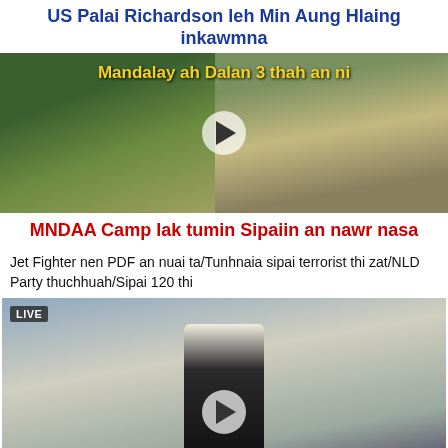US Palai Richardson leh Min Aung Hlaing inkawmna
[Figure (screenshot): Video thumbnail showing armed soldiers on a pickup truck on the left side and a masked man with raised fist on the right side, with yellow text overlay 'Mandalay ah Dalan 3 thah an ni' and a play button in the center]
MNDAA Camp lak tumin Sipaiin an nawr nasa
Jet Fighter nen PDF an nuai ta/Tunhnaia sipai terrorist thi zat/NLD Party thuchhuah/Sipai 120 thi
[Figure (screenshot): Live video thumbnail showing a man in a suit standing in a modern room with city skyline window view, with LIVE badge in top left and a play button at the bottom center]